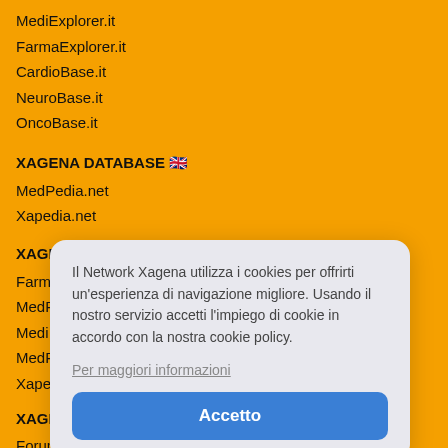MediExplorer.it
FarmaExplorer.it
CardioBase.it
NeuroBase.it
OncoBase.it
XAGENA DATABASE 🇬🇧
MedPedia.net
Xapedia.net
XAGENA DATABASE 🇮🇹
Farm…
MedP…
Medi…
MedP…
Xape…
XAGE…
Forum…
Forum…
Forum…
Il Network Xagena utilizza i cookies per offrirti un'esperienza di navigazione migliore. Usando il nostro servizio accetti l'impiego di cookie in accordo con la nostra cookie policy.
Per maggiori informazioni
Accetto